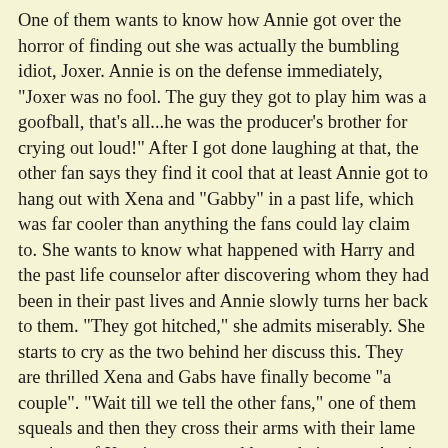One of them wants to know how Annie got over the horror of finding out she was actually the bumbling idiot, Joxer. Annie is on the defense immediately, "Joxer was no fool. The guy they got to play him was a goofball, that's all...he was the producer's brother for crying out loud!" After I got done laughing at that, the other fan says they find it cool that at least Annie got to hang out with Xena and "Gabby" in a past life, which was far cooler than anything the fans could lay claim to. She wants to know what happened with Harry and the past life counselor after discovering whom they had been in their past lives and Annie slowly turns her back to them. "They got hitched," she admits miserably. She starts to cry as the two behind her discuss this. They are thrilled Xena and Gabs have finally become "a couple". "Wait till we tell the other fans," one of them squeals and then they cross their arms with their lame versions of Xena's warcry, and leave their seats. Annie weeps, "But I read his scrolls" as the scene fades back to the